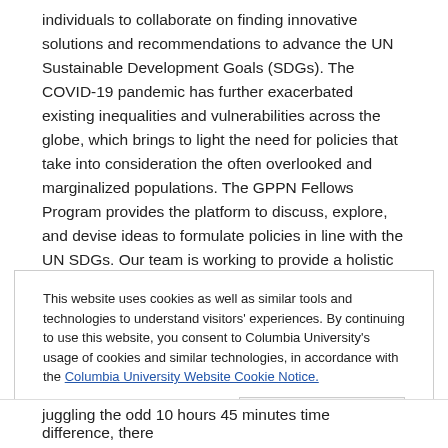individuals to collaborate on finding innovative solutions and recommendations to advance the UN Sustainable Development Goals (SDGs). The COVID-19 pandemic has further exacerbated existing inequalities and vulnerabilities across the globe, which brings to light the need for policies that take into consideration the often overlooked and marginalized populations. The GPPN Fellows Program provides the platform to discuss, explore, and devise ideas to formulate policies in line with the UN SDGs. Our team is working to provide a holistic and sustainable approach to achieving food security in developing countries during the pandemic.
This website uses cookies as well as similar tools and technologies to understand visitors' experiences. By continuing to use this website, you consent to Columbia University's usage of cookies and similar technologies, in accordance with the Columbia University Website Cookie Notice.
Close and accept
juggling the odd 10 hours 45 minutes time difference, there